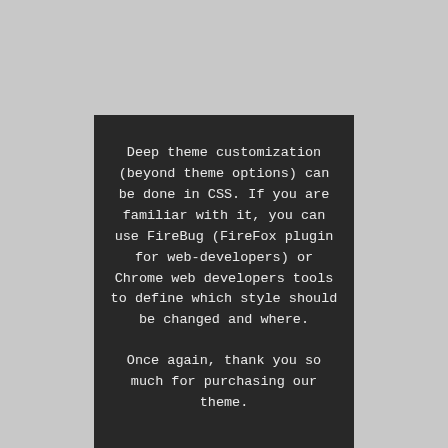Deep theme customization (beyond theme options) can be done in CSS. If you are familiar with it, you can use FireBug (FireFox plugin for web-developers) or Chrome web developers tools to define which style should be changed and where.

Once again, thank you so much for purchasing our theme.